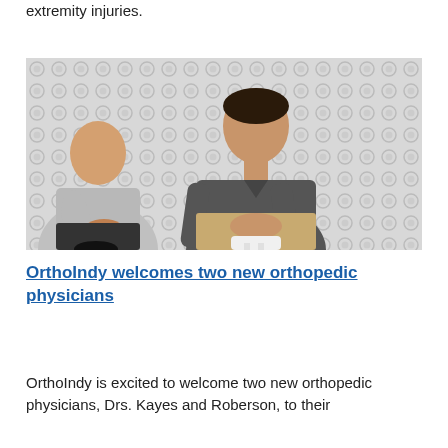extremity injuries.
[Figure (photo): Two men seated in front of a patterned background with circular/oval shapes. The man on the left wears a light gray shirt and dark pants. The man on the right, more centrally placed, wears a dark gray long-sleeve button-down shirt and khaki pants, sitting on a white stool with hands clasped.]
OrthoIndy welcomes two new orthopedic physicians
OrthoIndy is excited to welcome two new orthopedic physicians, Drs. Kayes and Roberson, to their